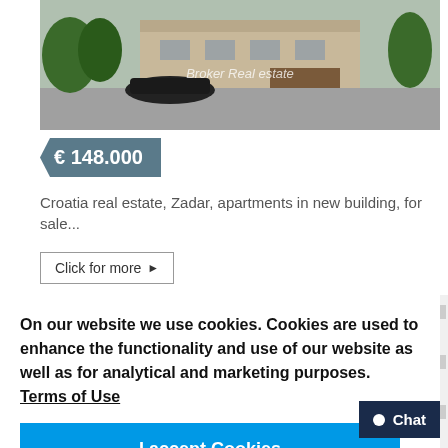[Figure (photo): Exterior photo of a modern residential building with a car parked in front, trees in background, watermark reading 'Broker Real estate']
€ 148.000
Croatia real estate, Zadar, apartments in new building, for sale...
Click for more ▶
On our website we use cookies. Cookies are used to enhance the functionality and use of our website as well as for analytical and marketing purposes.  Terms of Use
I accept Cookies
Chat